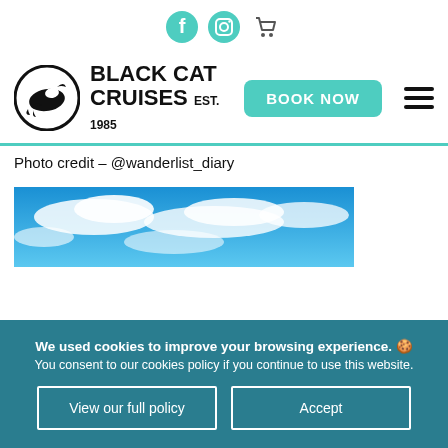Social icons: Facebook, Instagram, Cart
[Figure (logo): Black Cat Cruises logo with dolphin in circle, text BLACK CAT CRUISES EST. 1985]
[Figure (other): BOOK NOW button in teal and hamburger menu icon]
Photo credit – @wanderlist_diary
[Figure (photo): Partial photo showing blue sky with clouds]
We used cookies to improve your browsing experience. 🍪 You consent to our cookies policy if you continue to use this website.
View our full policy | Accept